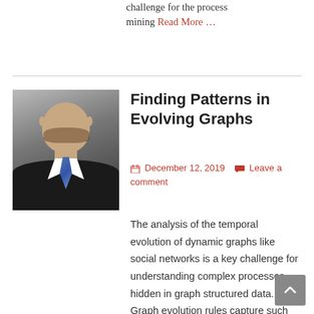challenge for the process mining Read More …
Finding Patterns in Evolving Graphs
December 12, 2019   Leave a comment
[Figure (photo): Portrait photograph of a man in a suit with a tie]
The analysis of the temporal evolution of dynamic graphs like social networks is a key challenge for understanding complex processes hidden in graph structured data. Graph evolution rules capture such processes on the level of small subgraphs by describing frequently occurring structural changes within them.